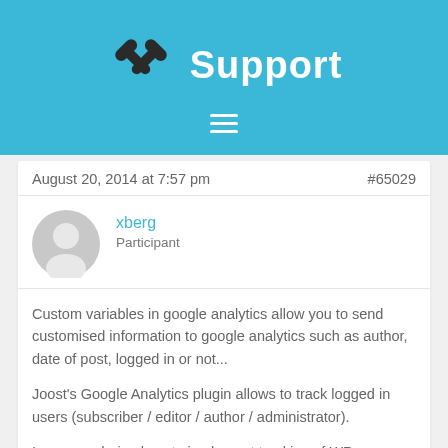Support
August 20, 2014 at 7:57 pm
#65029
xberg
Participant
Custom variables in google analytics allow you to send customised information to google analytics such as author, date of post, logged in or not...
Joost's Google Analytics plugin allows to track logged in users (subscriber / editor / author / administrator).
I was wondering how to implement tracking of WP eMember level.